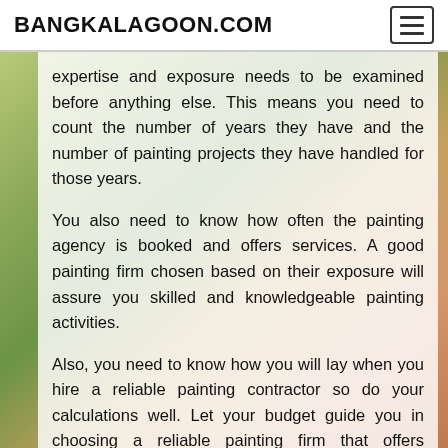BANGKALAGOON.COM
expertise and exposure needs to be examined before anything else. This means you need to count the number of years they have and the number of painting projects they have handled for those years.
You also need to know how often the painting agency is booked and offers services. A good painting firm chosen based on their exposure will assure you skilled and knowledgeable painting activities.
Also, you need to know how you will lay when you hire a reliable painting contractor so do your calculations well. Let your budget guide you in choosing a reliable painting firm that offers average charges for the services.